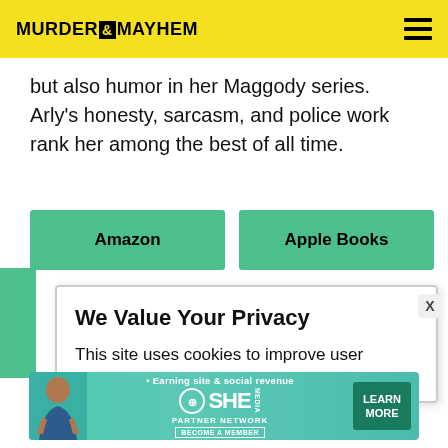MURDER & MAYHEM
but also humor in her Maggody series. Arly's honesty, sarcasm, and police work rank her among the best of all time.
[Figure (screenshot): Two green buttons side by side: 'Amazon' and 'Apple Books']
We Value Your Privacy
This site uses cookies to improve user experience
[Figure (infographic): SHE Media Partner Network advertisement banner with woman photo, tagline 'Earning site & social revenue', SHE logo, PARTNER NETWORK, BECOME A MEMBER, LEARN MORE button]